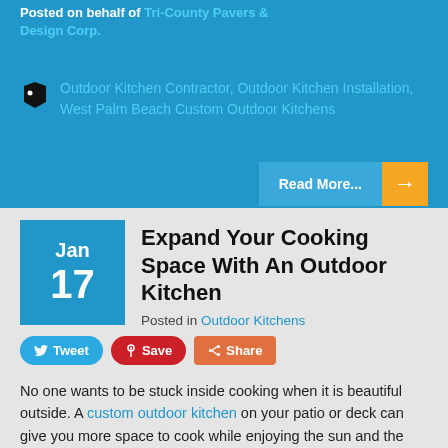Posted on behalf of Tri-County Pavers & Design Corp.
Outdoor Kitchen Contractor, Outdoor Kitchen Installation, West Palm Beach Custom Outdoor Kitchens
Read More...
Expand Your Cooking Space With An Outdoor Kitchen
Posted in Outdoor Kitchens
Tweet  Save  Share
No one wants to be stuck inside cooking when it is beautiful outside. A custom outdoor kitchen on your patio or deck can give you more space to cook while enjoying the sun and the company of your family or guests. In addition, you can cut